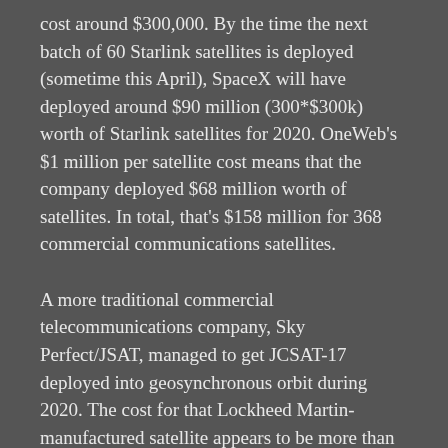cost around $300,000. By the time the next batch of 60 Starlink satellites is deployed (sometime this April), SpaceX will have deployed around $90 million (300*$300k) worth of Starlink satellites for 2020. OneWeb's $1 million per satellite cost means that the company deployed $68 million worth of satellites. In total, that's $158 million for 368 commercial communications satellites.
A more traditional commercial telecommunications company, Sky Perfect/JSAT, managed to get JCSAT-17 deployed into geosynchronous orbit during 2020. The cost for that Lockheed Martin-manufactured satellite appears to be more than $300 million. The mind-